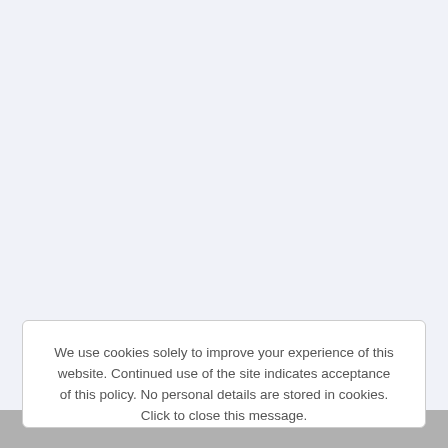We use cookies solely to improve your experience of this website. Continued use of the site indicates acceptance of this policy. No personal details are stored in cookies. Click to close this message.